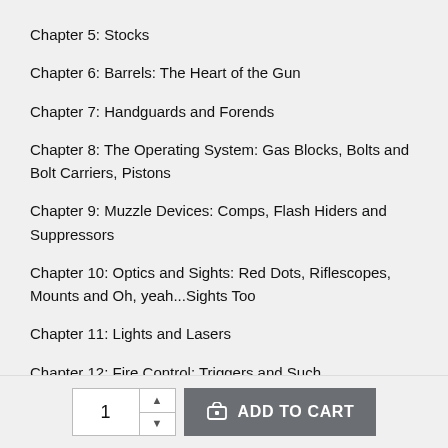Chapter 5: Stocks
Chapter 6: Barrels: The Heart of the Gun
Chapter 7: Handguards and Forends
Chapter 8: The Operating System: Gas Blocks, Bolts and Bolt Carriers, Pistons
Chapter 9: Muzzle Devices: Comps, Flash Hiders and Suppressors
Chapter 10: Optics and Sights: Red Dots, Riflescopes, Mounts and Oh, yeah...Sights Too
Chapter 11: Lights and Lasers
Chapter 12: Fire Control: Triggers and Such
Chapter 13: Miscellaneous Accessories: Everything Else
Chapter 14: Cleaning and Maintenance
Chapter 15: Ammunition and Magazines
Chapter 16: Receivers
Chapter 17: AK Accessorization
Chapter 18: FAL Customization: The Free World's Right Arm,